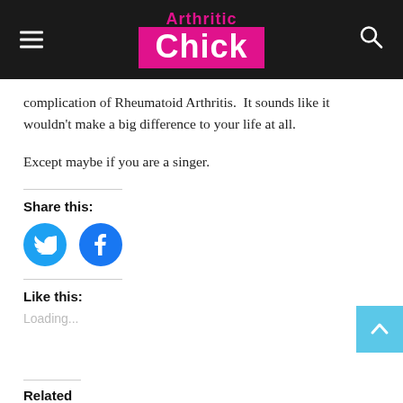Arthritic Chick
complication of Rheumatoid Arthritis.  It sounds like it wouldn't make a big difference to your life at all.
Except maybe if you are a singer.
Share this:
[Figure (other): Twitter and Facebook share icon buttons (circular blue icons)]
Like this:
Loading...
Related